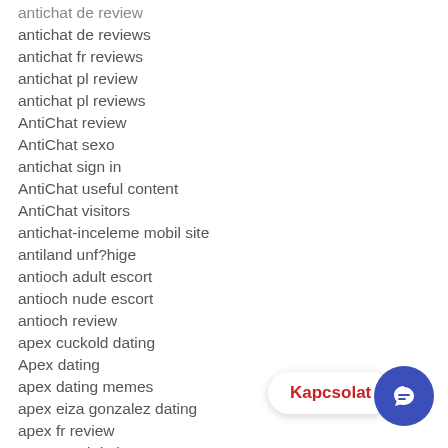antichat de review
antichat de reviews
antichat fr reviews
antichat pl review
antichat pl reviews
AntiChat review
AntiChat sexo
antichat sign in
AntiChat useful content
AntiChat visitors
antichat-inceleme mobil site
antiland unf?hige
antioch adult escort
antioch nude escort
antioch review
apex cuckold dating
Apex dating
apex dating memes
apex eiza gonzalez dating
apex fr review
apex good dating apps